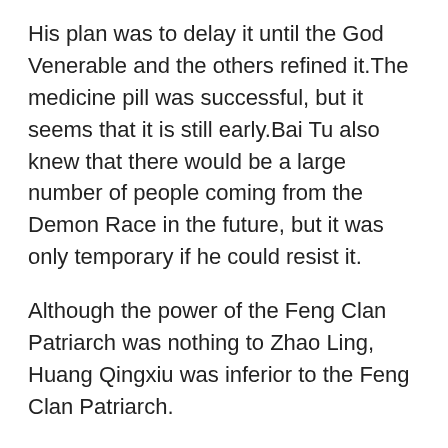His plan was to delay it until the God Venerable and the others refined it.The medicine pill was successful, but it seems that it is still early.Bai Tu also knew that there would be a large number of people coming from the Demon Race in the future, but it was only temporary if he could resist it.
Although the power of the Feng Clan Patriarch was nothing to Zhao Ling, Huang Qingxiu was inferior to the Feng Clan Patriarch.
This old man spent most of his life training in swordsmanship, so that he could barely mucinex ok with high blood pressure comprehend the diuretic blood pressure tablets sword intent.
Haha, I can not eat so much.Emperor Yueming said directly.It is not for you.Zhao Ling smiled and said to Xiao Hei on his shoulder, You can eat it.Whoosh.After Zhao Linggang finished speaking, Xiao Hei flew towards the food like lightning.Kaqi